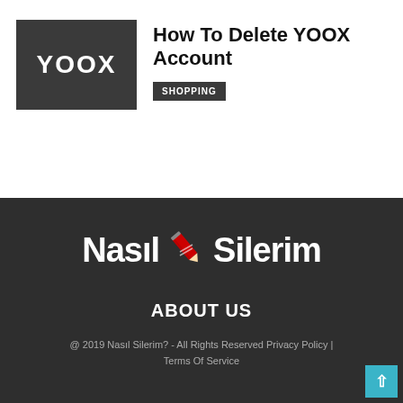[Figure (logo): YOOX brand logo — white text 'YOOX' on dark grey/charcoal square background]
How To Delete YOOX Account
SHOPPING
[Figure (logo): Nasil Silerim website logo — bold white text 'Nasıl' and 'Silerim' with a red pencil/eraser icon between them, on dark background]
ABOUT US
@ 2019 Nasıl Silerim? - All Rights Reserved Privacy Policy | Terms Of Service